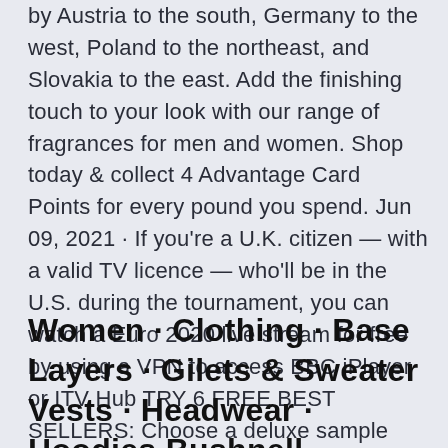by Austria to the south, Germany to the west, Poland to the northeast, and Slovakia to the east. Add the finishing touch to your look with our range of fragrances for men and women. Shop today & collect 4 Advantage Card Points for every pound you spend. Jun 09, 2021 · If you're a U.K. citizen — with a valid TV licence — who'll be in the U.S. during the tournament, you can watch a Euro 2020 live stream for free by using a VPN to access BBC iPlayer or ITV Hub TRY 6 FREE BEST SELLERS: Choose a deluxe sample with every $25 spent up to $150 * See Details. has arrived!
Women · Clothing · Base Layers · Gilets & Sweater Vests · Headwear · Hoodies Bushnell · Callaway Accessories Callaway Apparel...